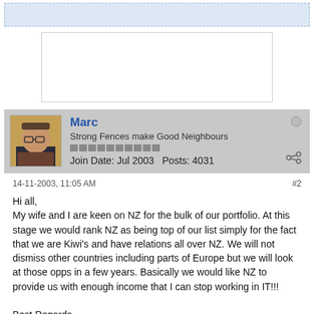[Figure (other): Top banner ad area with dashed light blue border]
[Figure (other): White rectangular advertisement box]
Marc
Strong Fences make Good Neighbours
Join Date: Jul 2003   Posts: 4031
14-11-2003, 11:05 AM
#2

Hi all,
My wife and I are keen on NZ for the bulk of our portfolio. At this stage we would rank NZ as being top of our list simply for the fact that we are Kiwi's and have relations all over NZ. We will not dismiss other countries including parts of Europe but we will look at those opps in a few years. Basically we would like NZ to provide us with enough income that I can stop working in IT!!!

Best Regards